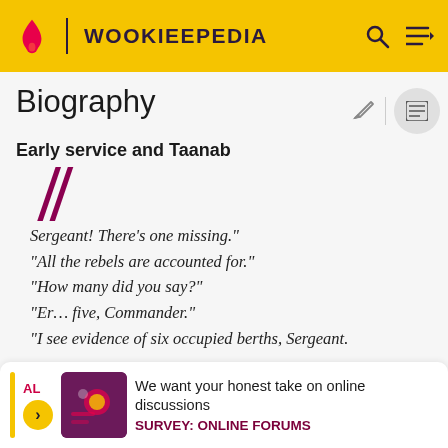WOOKIEEPEDIA
Biography
Early service and Taanab
Sergeant! There's one missing."
"All the rebels are accounted for."
"How many did you say?"
"Er… five, Commander."
"I see evidence of six occupied berths, Sergeant.
We want your honest take on online discussions
SURVEY: ONLINE FORUMS